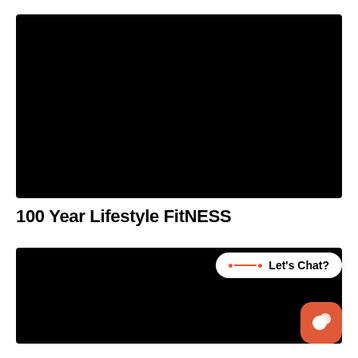[Figure (photo): Black rectangle representing a video or image placeholder at the top of the page]
100 Year Lifestyle FitNESS
[Figure (screenshot): Black rectangle at bottom of page with a white 'Let's Chat?' chat bubble UI element overlaid, and an orange rounded square chat icon button in the bottom right corner]